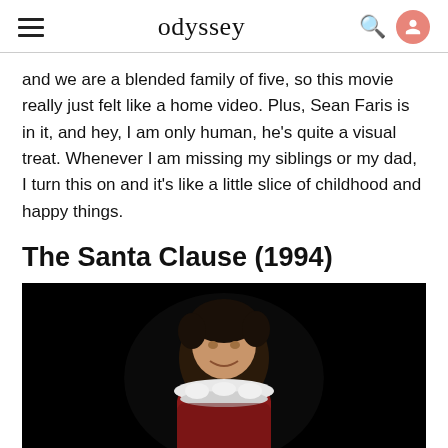odyssey
and we are a blended family of five, so this movie really just felt like a home video. Plus, Sean Faris is in it, and hey, I am only human, he's quite a visual treat. Whenever I am missing my siblings or my dad, I turn this on and it's like a little slice of childhood and happy things.
The Santa Clause (1994)
[Figure (photo): A man dressed in a Santa Claus costume (red suit with white fur trim) looking down, photographed against a dark/black background. The image appears to be a screenshot or still from a movie.]